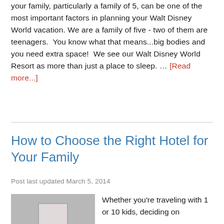your family, particularly a family of 5, can be one of the most important factors in planning your Walt Disney World vacation. We are a family of five - two of them are teenagers.  You know what that means...big bodies and you need extra space!  We see our Walt Disney World Resort as more than just a place to sleep. … [Read more...]
How to Choose the Right Hotel for Your Family
Post last updated March 5, 2014
[Figure (photo): Thumbnail image for article 'How to Choose the Right Hotel for Your Family' showing a hotel room photo with blue overlay text label at the bottom reading 'w to Choose the Right Hotel an Hotel Room']
Whether you're traveling with 1 or 10 kids, deciding on